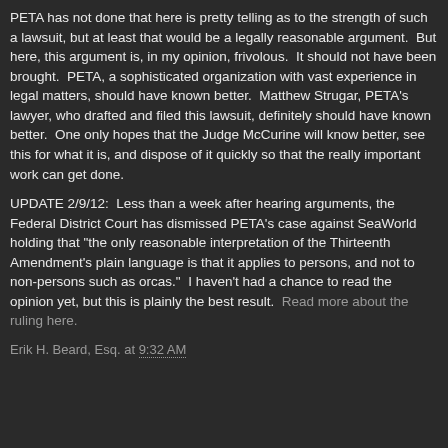PETA has not done that here is pretty telling as to the strength of such a lawsuit, but at least that would be a legally reasonable argument.  But here, this argument is, in my opinion, frivolous.  It should not have been brought.  PETA, a sophisticated organization with vast experience in legal matters, should have known better.  Matthew Strugar, PETA's lawyer, who drafted and filed this lawsuit, definitely should have known better.  One only hopes that the Judge McCurine will know better, see this for what it is, and dispose of it quickly so that the really important work can get done.
UPDATE 2/9/12:  Less than a week after hearing arguments, the Federal District Court has dismissed PETA's case against SeaWorld holding that "the only reasonable interpretation of the Thirteenth Amendment's plain language is that it applies to persons, and not to non-persons such as orcas."  I haven't had a chance to read the opinion yet, but this is plainly the best result.  Read more about the ruling here.
Erik H. Beard, Esq. at 9:32 AM